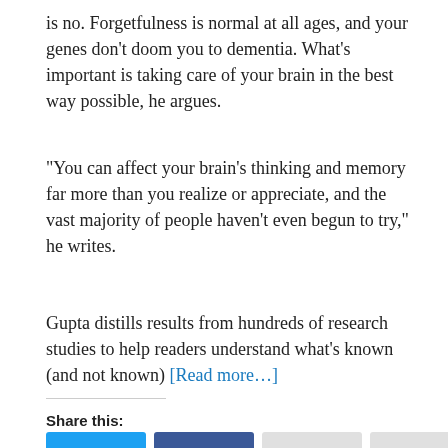is no. Forgetfulness is normal at all ages, and your genes don't doom you to dementia. What's important is taking care of your brain in the best way possible, he argues.
“You can affect your brain’s thinking and memory far more than you realize or appreciate, and the vast majority of people haven’t even begun to try,” he writes.
Gupta distills results from hundreds of research studies to help readers understand what’s known (and not known) [Read more…]
Share this: